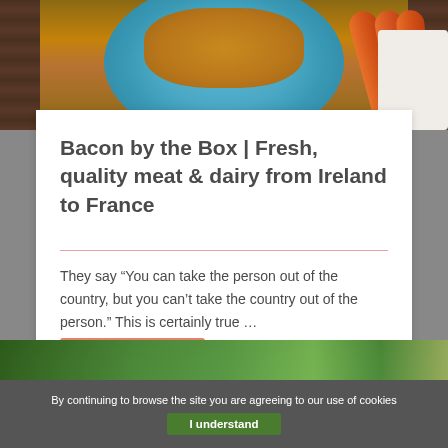[Figure (photo): Top portion of a plate with baked beans and sausages on a wooden background]
Bacon by the Box | Fresh, quality meat & dairy from Ireland to France
They say “You can take the person out of the country, but you can’t take the country out of the person.” This is certainly true …
[Figure (photo): Bottom photo strip showing greenery]
By continuing to browse the site you are agreeing to our use of cookies
I understand